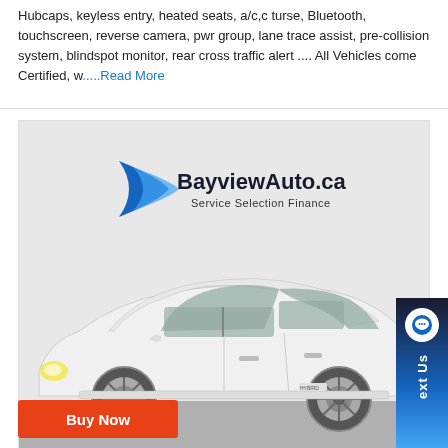Hubcaps, keyless entry, heated seats, a/c,c turse, Bluetooth, touchscreen, reverse camera, pwr group, lane trace assist, pre-collision system, blindspot monitor, rear cross traffic alert .... All Vehicles come Certified, w.....Read More
[Figure (photo): White Toyota Prius (hybrid) photographed from the side in a dealership showroom with a BayviewAuto.ca Service Selection Finance logo/sign on the wall behind the car.]
Buy Now